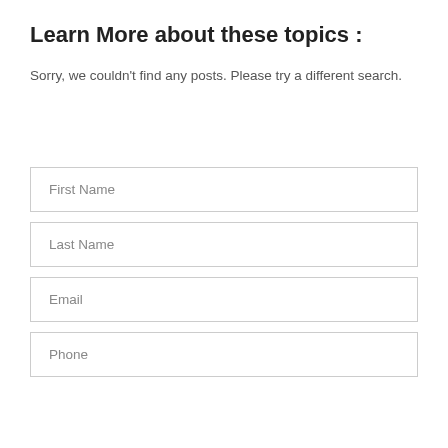Learn More about these topics :
Sorry, we couldn't find any posts. Please try a different search.
[Figure (other): Form fields: First Name, Last Name, Email, Phone]